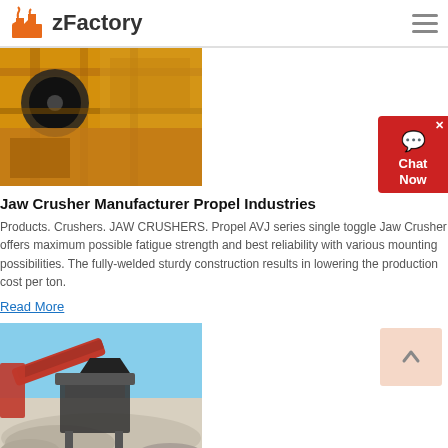zFactory
[Figure (photo): Industrial jaw crusher equipment with yellow/orange machinery and structural steel]
Jaw Crusher Manufacturer Propel Industries
Products. Crushers. JAW CRUSHERS. Propel AVJ series single toggle Jaw Crusher offers maximum possible fatigue strength and best reliability with various mounting possibilities. The fully-welded sturdy construction results in lowering the production cost per ton.
Read More
[Figure (photo): Red and black crusher machine equipment outdoors with grey stone/rubble in the foreground and blue sky background]
Home - Crusher Machine Manufacturers in India
Established in the year 1989, Maxwell Crushtech has covered a long